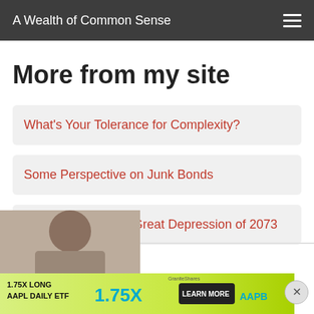A Wealth of Common Sense
More from my site
What's Your Tolerance for Complexity?
Some Perspective on Junk Bonds
Animal Spirits: The Great Depression of 2073
[Figure (photo): Partial photo of a person visible at bottom left of page]
[Figure (infographic): Advertisement banner: 1.75X LONG AAPL DAILY ETF 1.75X with AAPB ticker, Apple logo, and LEARN MORE button on yellow-green background, GraniteShares logo]